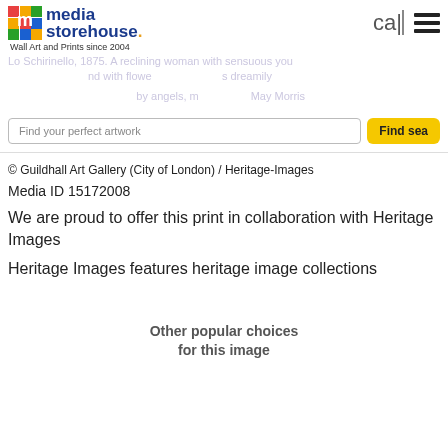media storehouse. Wall Art and Prints since 2004
cart | menu
Lo Schirinello, 1875. A reclining woman with sensuous red lips, crowned with flowers gazes dreamily attended by angels, May Morris
Find your perfect artwork
Find
© Guildhall Art Gallery (City of London) / Heritage-Images
Media ID 15172008
We are proud to offer this print in collaboration with Heritage Images
Heritage Images features heritage image collections
Other popular choices
for this image